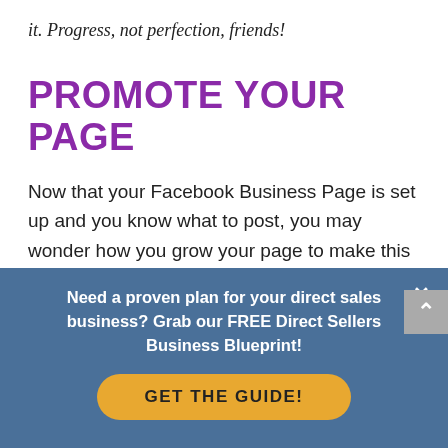it. Progress, not perfection, friends!
PROMOTE YOUR PAGE
Now that your Facebook Business Page is set up and you know what to post, you may wonder how you grow your page to make this investment of time worthwhile in
Need a proven plan for your direct sales business? Grab our FREE Direct Sellers Business Blueprint!
GET THE GUIDE!